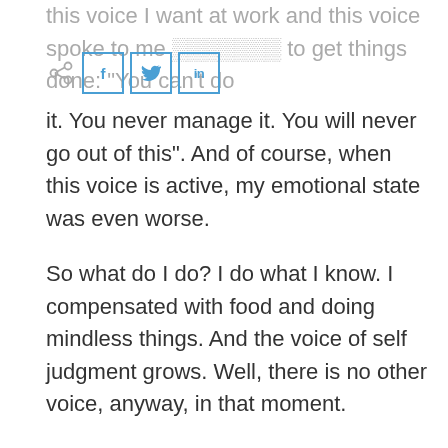this voice I want at work and this voice spoke to me [obscured] to get things done: "You can't do it. You never manage it. You will never go out of this". And of course, when this voice is active, my emotional state was even worse.
So what do I do? I do what I know. I compensated with food and doing mindless things. And the voice of self judgment grows. Well, there is no other voice, anyway, in that moment.
Here comes the practice of meditation. With the practice of meditation. What you do is ..You hear this voice, you hear this also unfulfillment that you feel, this lack of happiness. You feel it in